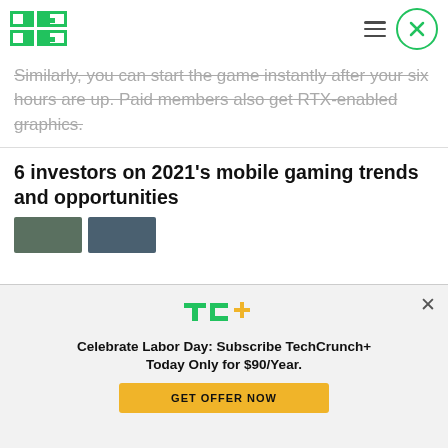TechCrunch logo, hamburger menu, close button
Similarly, you can start the game instantly after your six hours are up. Paid members also get RTX-enabled graphics.
6 investors on 2021's mobile gaming trends and opportunities
[Figure (screenshot): Two thumbnail images partially visible at bottom of related article section]
[Figure (logo): TC+ logo in green and yellow]
Celebrate Labor Day: Subscribe TechCrunch+ Today Only for $90/Year.
GET OFFER NOW